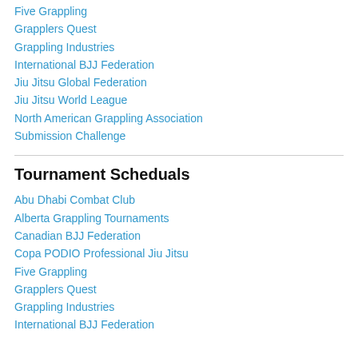Five Grappling
Grapplers Quest
Grappling Industries
International BJJ Federation
Jiu Jitsu Global Federation
Jiu Jitsu World League
North American Grappling Association
Submission Challenge
Tournament Scheduals
Abu Dhabi Combat Club
Alberta Grappling Tournaments
Canadian BJJ Federation
Copa PODIO Professional Jiu Jitsu
Five Grappling
Grapplers Quest
Grappling Industries
International BJJ Federation